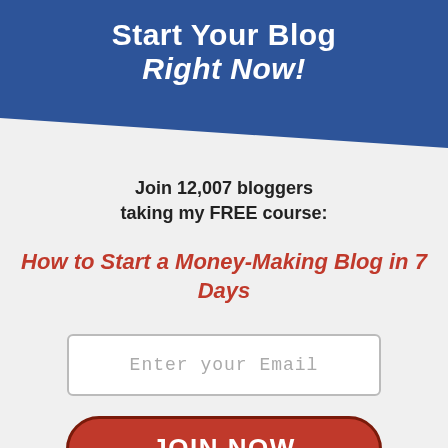Start Your Blog Right Now!
Join 12,007 bloggers taking my FREE course:
How to Start a Money-Making Blog in 7 Days
[Figure (other): Email input field with placeholder 'Enter your Email']
[Figure (other): Orange rounded button with text 'JOIN NOW']
NO THANKS, I HAVE ENOUGH MONEY